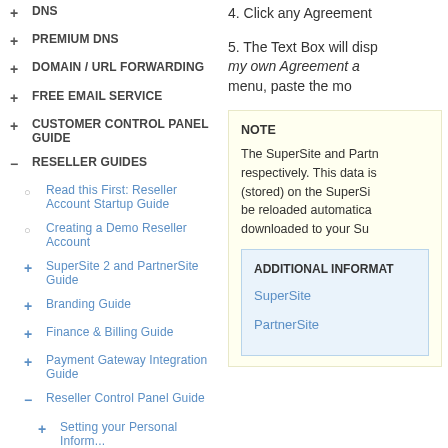+ DNS
+ PREMIUM DNS
+ DOMAIN / URL FORWARDING
+ FREE EMAIL SERVICE
+ CUSTOMER CONTROL PANEL GUIDE
− RESELLER GUIDES
○ Read this First: Reseller Account Startup Guide
○ Creating a Demo Reseller Account
+ SuperSite 2 and PartnerSite Guide
+ Branding Guide
+ Finance & Billing Guide
+ Payment Gateway Integration Guide
− Reseller Control Panel Guide
+ Setting your Personal Information
4. Click any Agreement
5. The Text Box will display my own Agreement and menu, paste the mod
NOTE
The SuperSite and Partn respectively. This data is (stored) on the SuperSi be reloaded automatica downloaded to your Su
ADDITIONAL INFORMATI SuperSite PartnerSite